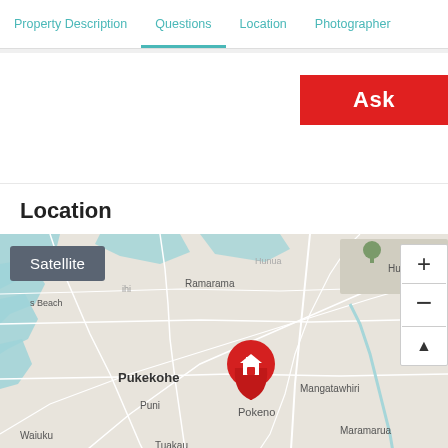Property Description | Questions | Location | Photographer
Ask
Location
[Figure (map): Street map showing Pukekohe, Pokeno, Puni, Tuakau, Waiuku, Ramarama, Mangatawhiri, Maramarua, Hunua Ranges area in New Zealand. Red house pin marker placed at Pokeno. Map includes Satellite toggle button and zoom/pan controls.]